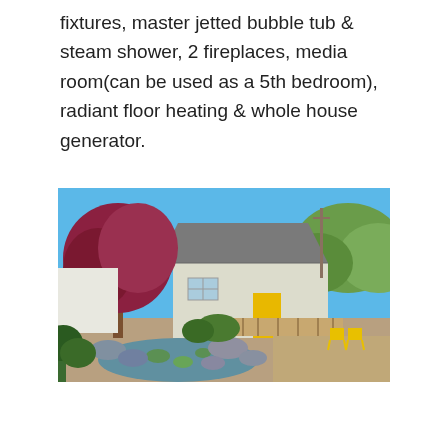fixtures, master jetted bubble tub & steam shower, 2 fireplaces, media room(can be used as a 5th bedroom), radiant floor heating & whole house generator.
[Figure (photo): Exterior photo of a single-story house with a gray shingle roof, white siding, and a bright yellow front door. A wood deck/porch is visible. Large trees with red/purple and green foliage frame the house. In the foreground is a rock garden with a small pond with lily pads. Two yellow Adirondack chairs are visible in the backyard. Blue sky in the background.]